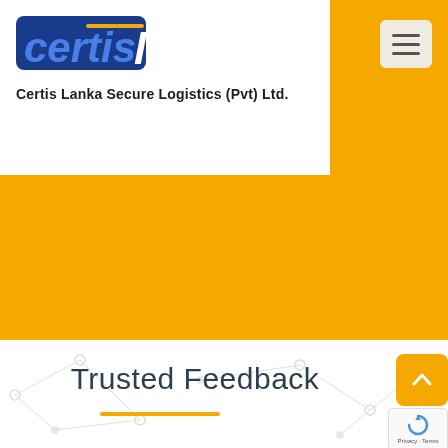[Figure (logo): Certis Lanka logo with blue 'certis' text and italic white 'lanka' text on blue background, above company name text]
Certis Lanka Secure Logistics (Pvt) Ltd.
[Figure (illustration): Yellow hero/banner area, large solid golden yellow rectangle]
Trusted Feedback